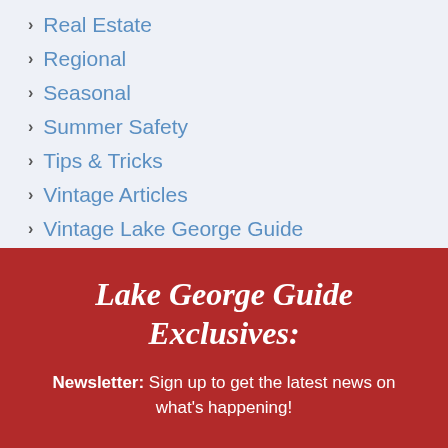Real Estate
Regional
Seasonal
Summer Safety
Tips & Tricks
Vintage Articles
Vintage Lake George Guide
Lake George Guide Exclusives:
Newsletter: Sign up to get the latest news on what's happening!